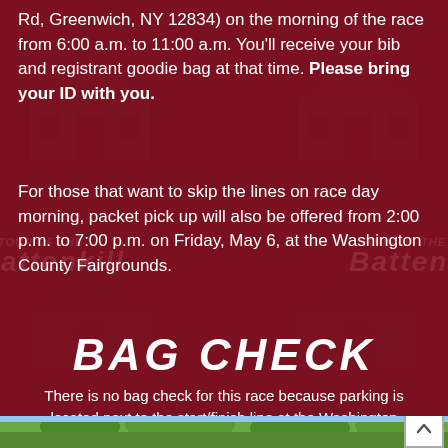Rd, Greenwich, NY 12834) on the morning of the race from 6:00 a.m. to 11:00 a.m. You'll receive your bib and registrant goodie bag at that time. Please bring your ID with you.
For those that want to skip the lines on race day morning, packet pick up will also be offered from 2:00 p.m. to 7:00 p.m. on Friday, May 6, at the Washington County Fairgrounds.
BAG CHECK
There is no bag check for this race because parking is located next to the start/finish line at the Washington County Fairgrounds.
[Figure (photo): Photo strip at bottom of page showing trees/outdoor scene]